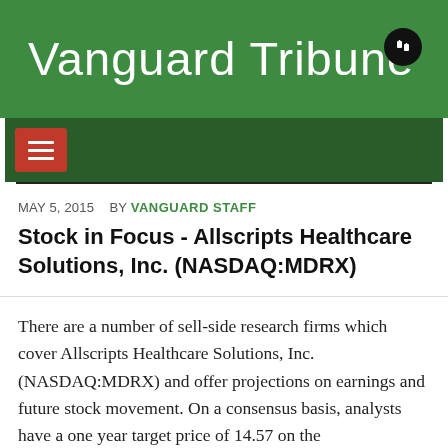Vanguard Tribune
MAY 5, 2015   BY VANGUARD STAFF
Stock in Focus - Allscripts Healthcare Solutions, Inc. (NASDAQ:MDRX)
There are a number of sell-side research firms which cover Allscripts Healthcare Solutions, Inc. (NASDAQ:MDRX) and offer projections on earnings and future stock movement. On a consensus basis, analysts have a one year target price of 14.57 on the